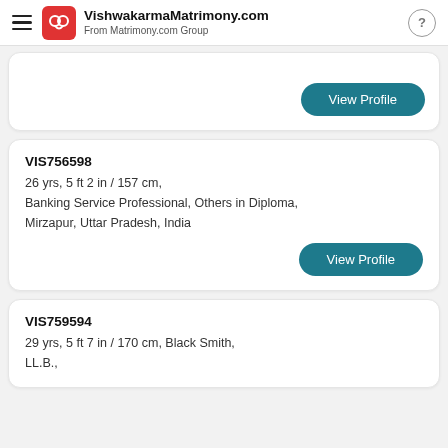VishwakarmaMatrimony.com — From Matrimony.com Group
View Profile (first card, partial)
VIS756598
26 yrs, 5 ft 2 in / 157 cm,
Banking Service Professional, Others in Diploma,
Mirzapur, Uttar Pradesh, India
View Profile
VIS759594
29 yrs, 5 ft 7 in / 170 cm, Black Smith,
LL.B.,